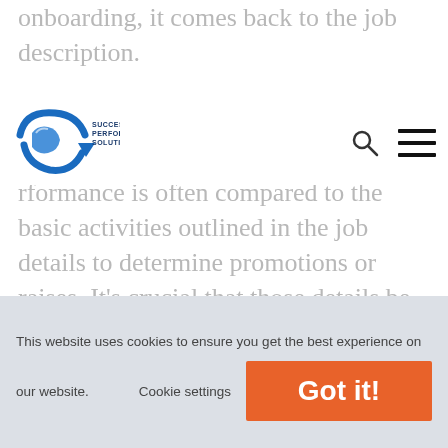onboarding, it comes back to the job description.
[Figure (logo): Success Performance Solutions logo with blue arrow/swoosh graphic and SPS text]
performance is often compared to the basic activities outlined in the job details to determine promotions or raises. It’s crucial that those details be correct.
Everyone expects their role to eventually expand beyond the bare-bones description. But at its core, the description should be accurate.
This website uses cookies to ensure you get the best experience on our website.
Cookie settings
Got it!